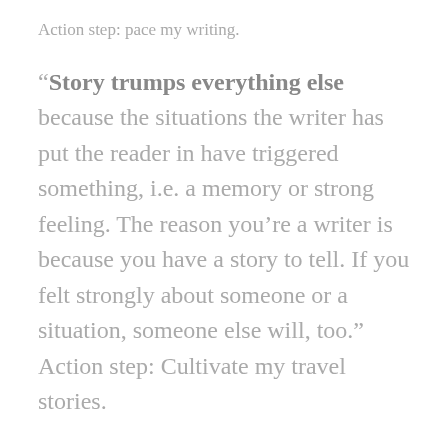Action step: pace my writing.
“Story trumps everything else because the situations the writer has put the reader in have triggered something, i.e. a memory or strong feeling. The reason you’re a writer is because you have a story to tell. If you felt strongly about someone or a situation, someone else will, too.” Action step: Cultivate my travel stories.
What about you, Wanderboomers?